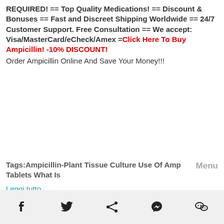REQUIRED! == Top Quality Medications! == Discount & Bonuses == Fast and Discreet Shipping Worldwide == 24/7 Customer Support. Free Consultation == We accept: Visa/MasterCard/eCheck/Amex =Click Here To Buy Ampicillin! -10% DISCOUNT! Order Ampicillin Online And Save Your Money!!!
Tags:Ampicillin-Plant Tissue Culture Use Of Ampicillin Tablets What Is
Leggi tutto...